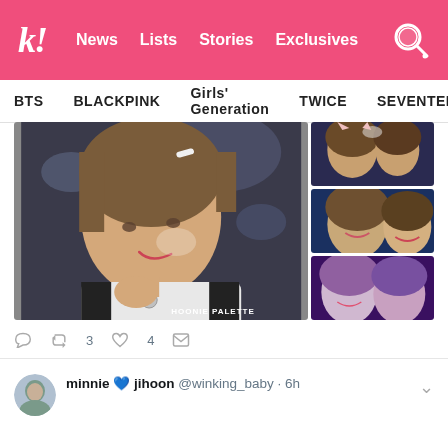k! News Lists Stories Exclusives
BTS  BLACKPINK  Girls' Generation  TWICE  SEVENTEEN
[Figure (photo): Collage of K-pop idol photos: large main photo of a male idol with brown hair wearing white jacket with black collar, holding hand up, with watermark 'HOONIE PALETTE'; three smaller photos on the right showing the same or related idols at an event]
3  4
minnie 💙 jihoon @winking_baby · 6h